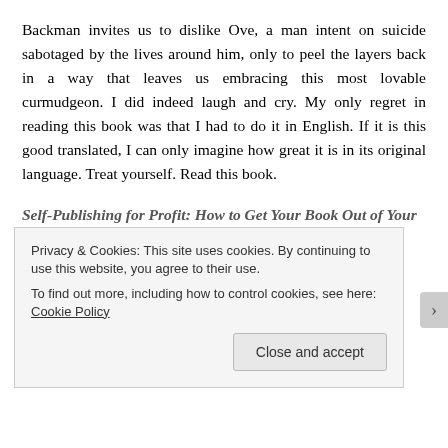Backman invites us to dislike Ove, a man intent on suicide sabotaged by the lives around him, only to peel the layers back in a way that leaves us embracing this most lovable curmudgeon. I did indeed laugh and cry. My only regret in reading this book was that I had to do it in English. If it is this good translated, I can only imagine how great it is in its original language. Treat yourself. Read this book.
Self-Publishing for Profit: How to Get Your Book Out of Your Head and Into the Stores by Chris Kennedy
The author generously shares the methods he has used
Privacy & Cookies: This site uses cookies. By continuing to use this website, you agree to their use. To find out more, including how to control cookies, see here: Cookie Policy
Close and accept